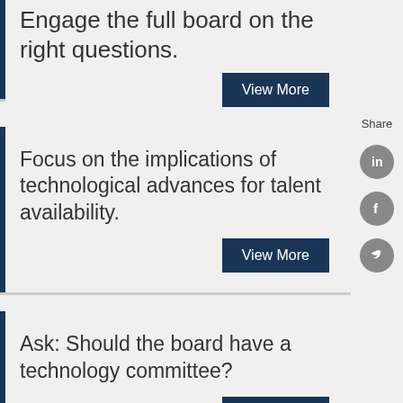Engage the full board on the right questions.
View More
Focus on the implications of technological advances for talent availability.
View More
Ask: Should the board have a technology committee?
View More